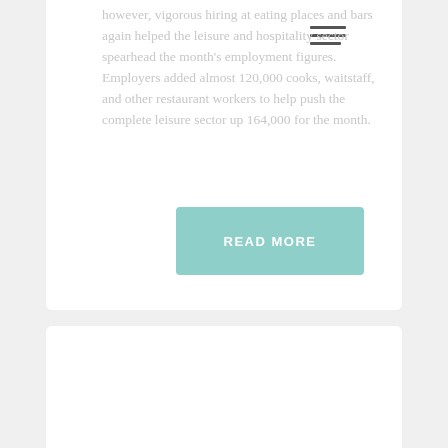however, vigorous hiring at eating places and bars again helped the leisure and hospitality sector spearhead the month's employment figures. Employers added almost 120,000 cooks, waitstaff, and other restaurant workers to help push the complete leisure sector up 164,000 for the month.
READ MORE